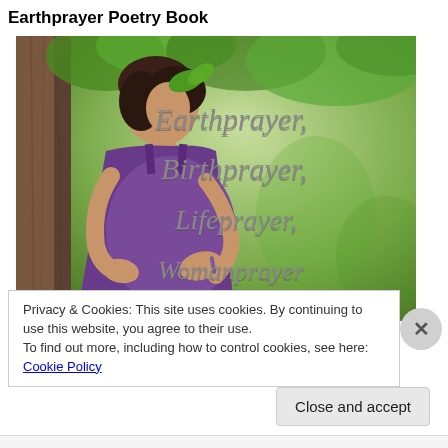Earthprayer Poetry Book
[Figure (photo): Book cover photo of a pregnant woman in a purple dress leaning against a tree outdoors, with green foliage background. Text overlay reads: Earthprayer, Birthprayer, Lifeprayer, Womanprayer]
Privacy & Cookies: This site uses cookies. By continuing to use this website, you agree to their use.
To find out more, including how to control cookies, see here: Cookie Policy
Close and accept